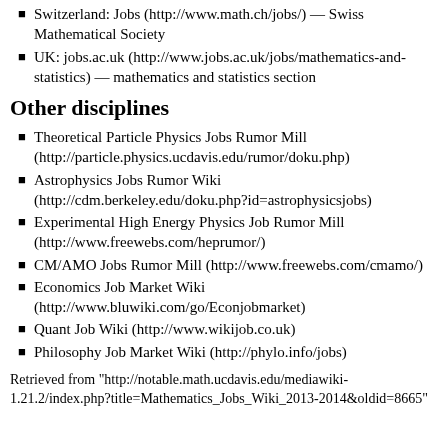Switzerland: Jobs (http://www.math.ch/jobs/) — Swiss Mathematical Society
UK: jobs.ac.uk (http://www.jobs.ac.uk/jobs/mathematics-and-statistics) — mathematics and statistics section
Other disciplines
Theoretical Particle Physics Jobs Rumor Mill (http://particle.physics.ucdavis.edu/rumor/doku.php)
Astrophysics Jobs Rumor Wiki (http://cdm.berkeley.edu/doku.php?id=astrophysicsjobs)
Experimental High Energy Physics Job Rumor Mill (http://www.freewebs.com/heprumor/)
CM/AMO Jobs Rumor Mill (http://www.freewebs.com/cmamo/)
Economics Job Market Wiki (http://www.bluwiki.com/go/Econjobmarket)
Quant Job Wiki (http://www.wikijob.co.uk)
Philosophy Job Market Wiki (http://phylo.info/jobs)
Retrieved from "http://notable.math.ucdavis.edu/mediawiki-1.21.2/index.php?title=Mathematics_Jobs_Wiki_2013-2014&oldid=8665"